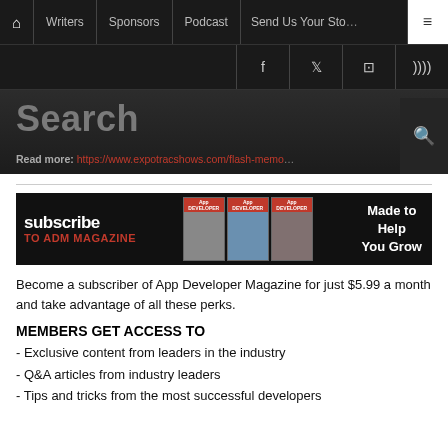Home | Writers | Sponsors | Podcast | Send Us Your Story | Menu
f | Twitter | Instagram | RSS
[Figure (screenshot): Search bar with text 'Search' and a URL 'Read more: https://www.expotracshows.com/flash-memo...' overlaid on dark background]
[Figure (illustration): Subscribe to ADM Magazine banner with magazine covers and text 'Made to Help You Grow']
Become a subscriber of App Developer Magazine for just $5.99 a month and take advantage of all these perks.
MEMBERS GET ACCESS TO
- Exclusive content from leaders in the industry
- Q&A articles from industry leaders
- Tips and tricks from the most successful developers